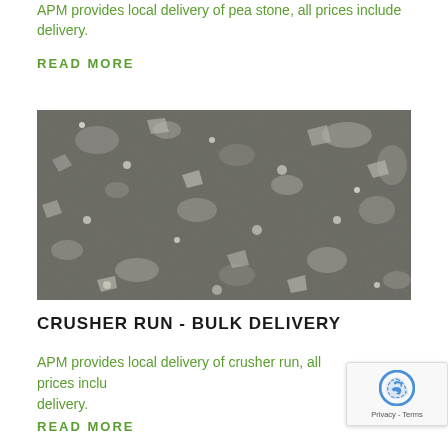APM provides local delivery of pea stone, all prices include delivery.
READ MORE
[Figure (photo): Close-up photograph of crusher run or pea stone aggregate material — a mix of grey, brown, and white crushed stone fragments and fine gravel.]
CRUSHER RUN - BULK DELIVERY
APM provides local delivery of crusher run, all prices include delivery.
READ MORE